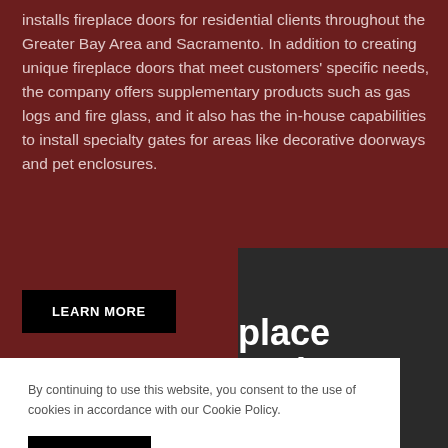installs fireplace doors for residential clients throughout the Greater Bay Area and Sacramento. In addition to creating unique fireplace doors that meet customers' specific needs, the company offers supplementary products such as gas logs and fire glass, and it also has the in-house capabilities to install specialty gates for areas like decorative doorways and pet enclosures.
LEARN MORE
By continuing to use this website, you consent to the use of cookies in accordance with our Cookie Policy.
ACCEPT
place ornia LOCAL